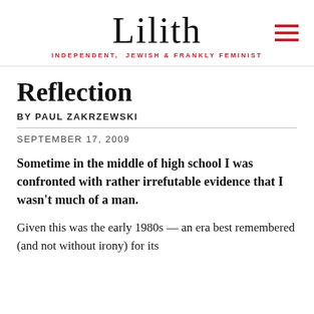Lilith — INDEPENDENT, JEWISH & FRANKLY FEMINIST
Reflection
BY PAUL ZAKRZEWSKI
SEPTEMBER 17, 2009
Sometime in the middle of high school I was confronted with rather irrefutable evidence that I wasn't much of a man.
Given this was the early 1980s — an era best remembered (and not without irony) for its